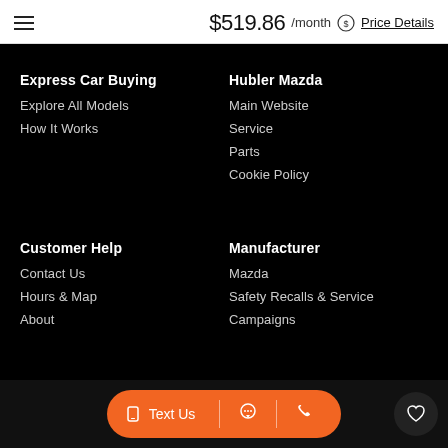$519.86 /month Price Details
Express Car Buying
Explore All Models
How It Works
Hubler Mazda
Main Website
Service
Parts
Cookie Policy
Customer Help
Contact Us
Hours & Map
About
Manufacturer
Mazda
Safety Recalls & Service
Campaigns
Text Us | chat | phone | heart